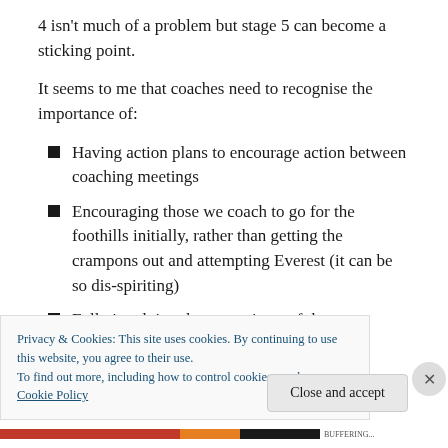4 isn't much of a problem but stage 5 can become a sticking point.
It seems to me that coaches need to recognise the importance of:
Having action plans to encourage action between coaching meetings
Encouraging those we coach to go for the foothills initially, rather than getting the crampons out and attempting Everest (it can be so dis-spiriting)
Fully involving the supervisors of those we coach to
Privacy & Cookies: This site uses cookies. By continuing to use this website, you agree to their use.
To find out more, including how to control cookies, see here: Cookie Policy